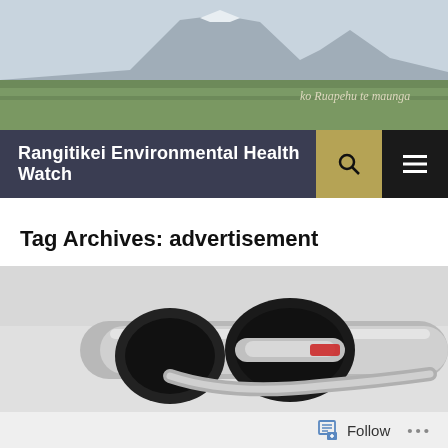[Figure (photo): Header banner photo showing a mountain (Ruapehu) in the distance over flat green fields and farmland, with italic text 'ko Ruapehu te maunga' in the lower right corner]
Rangitikei Environmental Health Watch
Tag Archives: advertisement
[Figure (photo): Close-up macro photograph of a black and chrome/silver bicycle or equipment handlebar fitting, with red detail visible, on a light grey background]
Follow ...